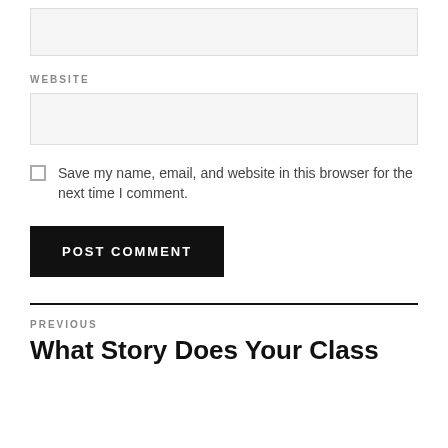[Figure (other): Empty text input box (form field)]
WEBSITE
[Figure (other): Empty text input box for website (form field)]
Save my name, email, and website in this browser for the next time I comment.
POST COMMENT
PREVIOUS
What Story Does Your Class